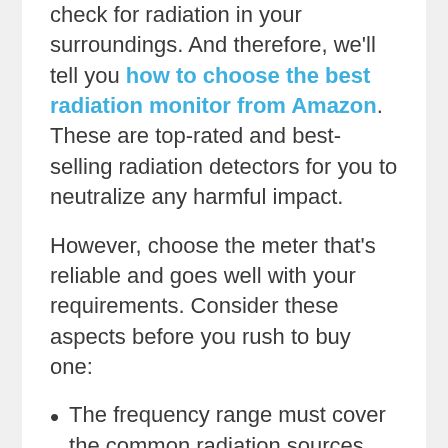check for radiation in your surroundings. And therefore, we'll tell you how to choose the best radiation monitor from Amazon. These are top-rated and best-selling radiation detectors for you to neutralize any harmful impact.
However, choose the meter that's reliable and goes well with your requirements. Consider these aspects before you rush to buy one:
The frequency range must cover the common radiation sources.
See if it can measure the